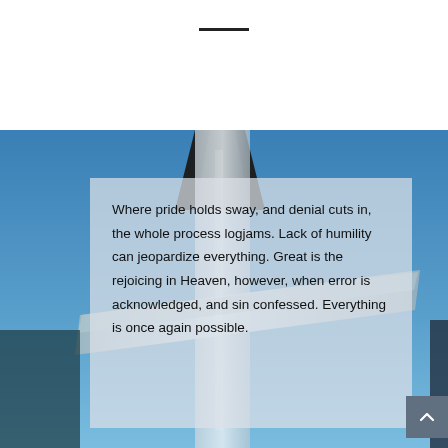[Figure (photo): Architectural photo showing geometric glass/metal spire or tower structure against a blue sky background]
Where pride holds sway, and denial cuts in, the whole process logjams. Lack of humility can jeopardize everything. Great is the rejoicing in Heaven, however, when error is acknowledged, and sin confessed. Everything is once again possible.